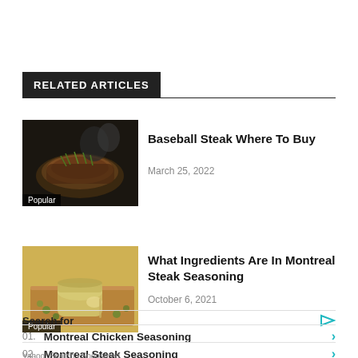RELATED ARTICLES
[Figure (photo): Photo of a herb-crusted steak on a cutting board with a wine glass in background, labeled Popular]
Baseball Steak Where To Buy
March 25, 2022
[Figure (photo): Photo of a glass jar with seasoning/oil on a wooden board, labeled Popular]
What Ingredients Are In Montreal Steak Seasoning
October 6, 2021
Search for
01. Montreal Chicken Seasoning
02. Montreal Steak Seasoning
Yahoo! Search | Sponsored